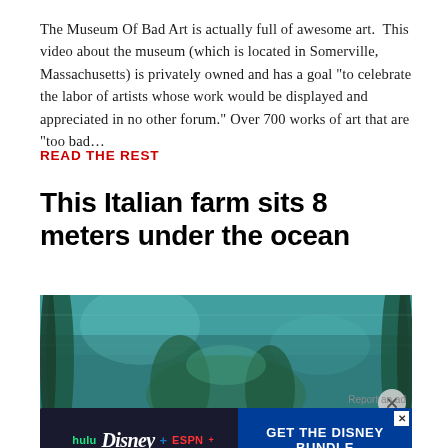The Museum Of Bad Art is actually full of awesome art.  This video about the museum (which is located in Somerville, Massachusetts) is privately owned and has a goal "to celebrate the labor of artists whose work would be displayed and appreciated in no other forum." Over 700 works of art that are "too bad...
READ THE REST
This Italian farm sits 8 meters under the ocean
[Figure (photo): Underwater photograph showing an ocean farm environment with green plants/seaweed visible through aquarium-like glass panels, teal/teal-green tones]
Report an ad
[Figure (screenshot): Disney Bundle advertisement banner featuring Hulu, Disney+, and ESPN+ logos on dark background with blue 'GET THE DISNEY BUNDLE' call-to-action button. Fine print: Incl. Hulu (ad-supported) or Hulu (No Ads). Access content from each service separately. ©2021 Disney and its related entities.]